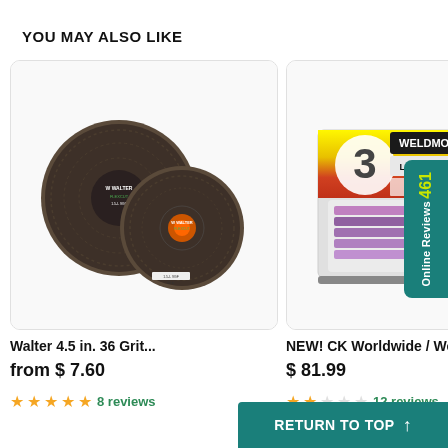YOU MAY ALSO LIKE
[Figure (photo): Two Walter 4.5 in. 36 grit grinding/cutting discs on white background]
[Figure (photo): Weldmonger Large Diameter TIG welding tungsten electrode package in clear plastic container with colorful label]
Walter 4.5 in. 36 Grit...
NEW! CK Worldwide / We...
from $ 7.60
$ 81.99
8 reviews
12 reviews
461 Online Reviews
RETURN TO TOP